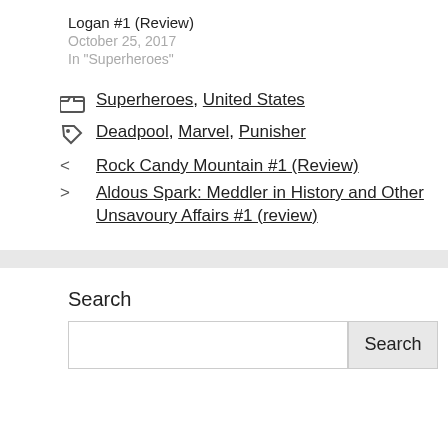Logan #1 (Review)
October 25, 2017
In "Superheroes"
Categories: Superheroes, United States
Tags: Deadpool, Marvel, Punisher
< Rock Candy Mountain #1 (Review)
> Aldous Spark: Meddler in History and Other Unsavoury Affairs #1 (review)
Search
Search